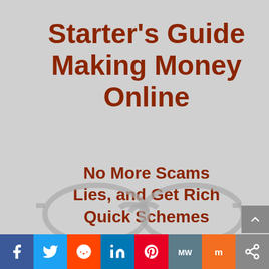Starter's Guide Making Money Online
No More Scams Lies, and Get Rich Quick Schemes
[Figure (illustration): Pair of eyeglasses resting at the bottom of the page, partially visible, in a muted gray style against the gray background.]
[Figure (infographic): Social media sharing bar with icons: Facebook (blue), Twitter (light blue), Reddit (orange-red), LinkedIn (blue), Pinterest (red), MeWe (teal-gray), Mix (orange), Share (gray).]